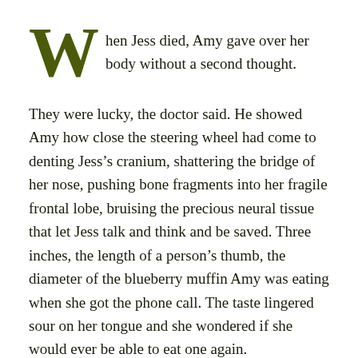When Jess died, Amy gave over her body without a second thought.
They were lucky, the doctor said. He showed Amy how close the steering wheel had come to denting Jess’s cranium, shattering the bridge of her nose, pushing bone fragments into her fragile frontal lobe, bruising the precious neural tissue that let Jess talk and think and be saved. Three inches, the length of a person’s thumb, the diameter of the blueberry muffin Amy was eating when she got the phone call. The taste lingered sour on her tongue and she wondered if she would ever be able to eat one again.
“In fact—” She forced herself to listen. “You’re lucky it was bad enough. Impact a little lower, and she’d be looking at spinal damage and long-term rehab instead of an upload. This is the best case scenario.”